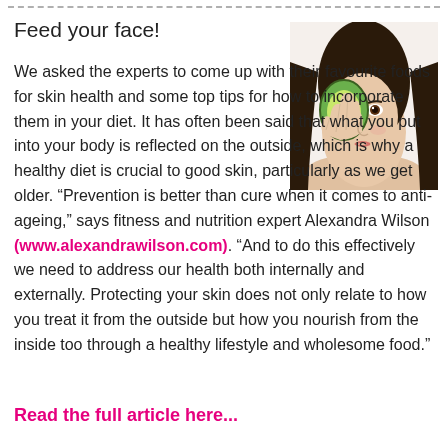Feed your face!
[Figure (photo): Woman holding a halved avocado over one eye, looking at camera, white background]
We asked the experts to come up with their favourite foods for skin health and some top tips for how to incorporate them in your diet. It has often been said that what you put into your body is reflected on the outside, which is why a healthy diet is crucial to good skin, particularly as we get older. “Prevention is better than cure when it comes to anti-ageing,” says fitness and nutrition expert Alexandra Wilson (www.alexandrawilson.com). “And to do this effectively we need to address our health both internally and externally. Protecting your skin does not only relate to how you treat it from the outside but how you nourish from the inside too through a healthy lifestyle and wholesome food.”
Read the full article here...